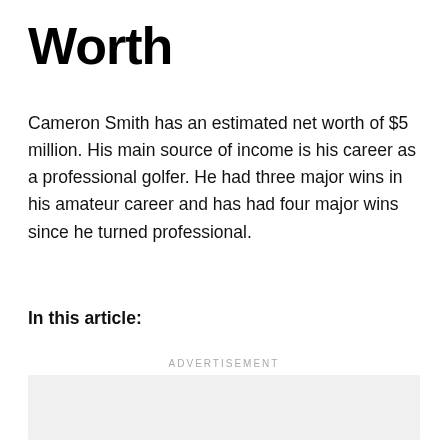Worth
Cameron Smith has an estimated net worth of $5 million. His main source of income is his career as a professional golfer. He had three major wins in his amateur career and has had four major wins since he turned professional.
In this article:
[Figure (other): Advertisement placeholder box with light gray background]